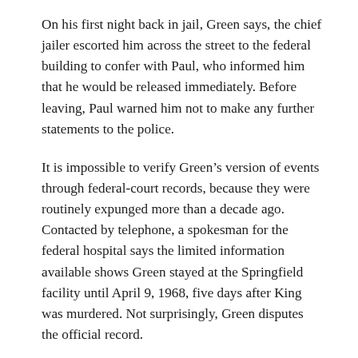On his first night back in jail, Green says, the chief jailer escorted him across the street to the federal building to confer with Paul, who informed him that he would be released immediately. Before leaving, Paul warned him not to make any further statements to the police.
It is impossible to verify Green's version of events through federal-court records, because they were routinely expunged more than a decade ago. Contacted by telephone, a spokesman for the federal hospital says the limited information available shows Green stayed at the Springfield facility until April 9, 1968, five days after King was murdered. Not surprisingly, Green disputes the official record.
By his account, he had returned to Caruthersville by the third week of March and was working for his father at a lumberyard. He began courting his third wife and took her to the Caruthersville High prom. He also attended another meeting in the backroom of the Climax bar. The assemblage